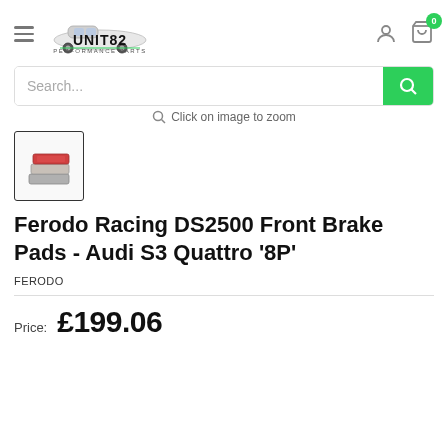[Figure (logo): Unit82 Performance Parts logo with car silhouette]
Search...
Click on image to zoom
[Figure (photo): Thumbnail of Ferodo DS2500 brake pads product image]
Ferodo Racing DS2500 Front Brake Pads - Audi S3 Quattro '8P'
FERODO
Price:  £199.06